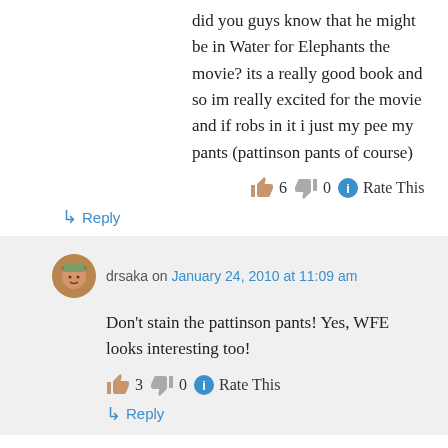did you guys know that he might be in Water for Elephants the movie? its a really good book and so im really excited for the movie and if robs in it i just my pee my pants (pattinson pants of course)
👍 6 👎 0 ℹ Rate This
↳ Reply
drsaka on January 24, 2010 at 11:09 am
Don't stain the pattinson pants! Yes, WFE looks interesting too!
👍 3 👎 0 ℹ Rate This
↳ Reply